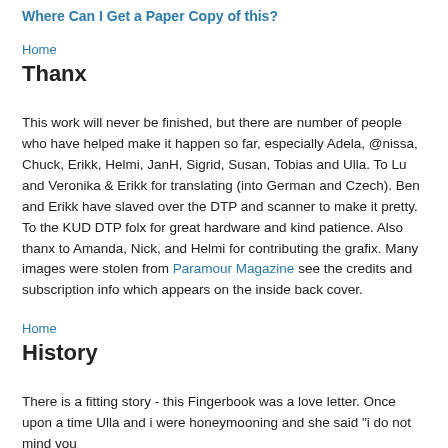Where Can I Get a Paper Copy of this?
Home
Thanx
This work will never be finished, but there are number of people who have helped make it happen so far, especially Adela, @nissa, Chuck, Erikk, Helmi, JanH, Sigrid, Susan, Tobias and Ulla. To Lu and Veronika & Erikk for translating (into German and Czech). Ben and Erikk have slaved over the DTP and scanner to make it pretty. To the KUD DTP folx for great hardware and kind patience. Also thanx to Amanda, Nick, and Helmi for contributing the grafix. Many images were stolen from Paramour Magazine see the credits and subscription info which appears on the inside back cover.
Home
History
There is a fitting story - this Fingerbook was a love letter. Once upon a time Ulla and i were honeymooning and she said "i do not mind you